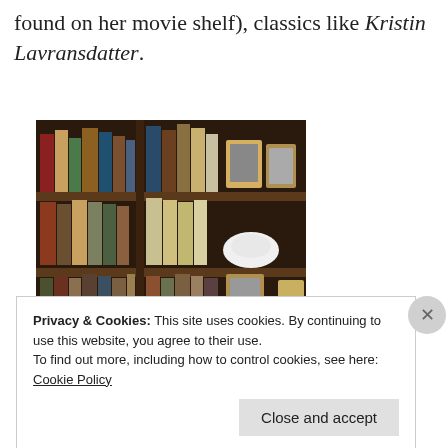found on her movie shelf), classics like Kristin Lavransdatter.
[Figure (photo): A wooden bookshelf filled with many books of various colors and sizes, with small framed photographs placed among the books on the shelves.]
Privacy & Cookies: This site uses cookies. By continuing to use this website, you agree to their use.
To find out more, including how to control cookies, see here: Cookie Policy